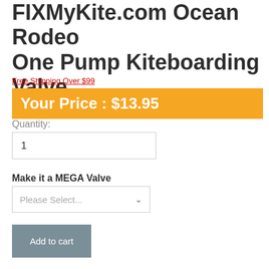FIXMyKite.com Ocean Rodeo One Pump Kiteboarding Valve
Free Shipping Over $99
Your Price : $13.95
Quantity:
1
Make it a MEGA Valve
Please Select...
Add to cart